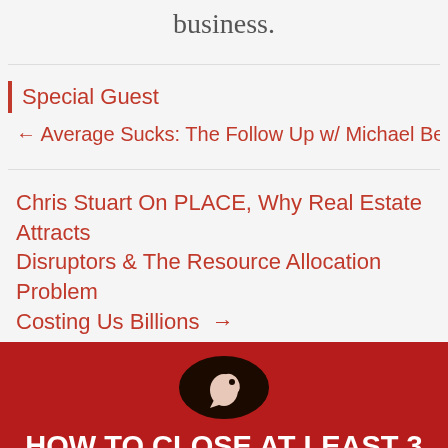business.
| Special Guest
← Average Sucks: The Follow Up w/ Michael Bernoff
Chris Stuart On PLACE, Why Real Estate Attracts Disruptors & The Resource Allocation Problem Costing Us Billions →
[Figure (infographic): Red promotional banner with dark circular rocket icon and white bold text reading HOW TO CLOSE AT LEAST 3 DEALS IN YOUR NEXT 90 DAYS, with subtitle Get instant access to our online masterclass to]